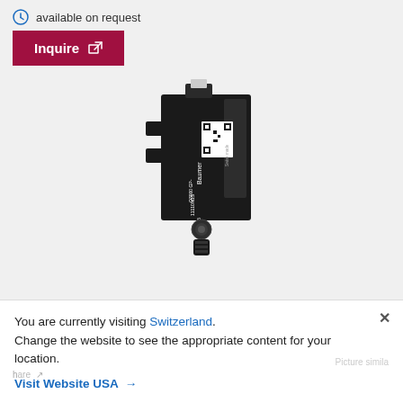available on request
Inquire
[Figure (photo): Baumer optical sensor - small black rectangular sensor with connector, labeled O3000 GP-11110M1S, Swiss made, D175, with QR code and Baumer branding]
You are currently visiting Switzerland. Change the website to see the appropriate content for your location.
Visit Website USA →